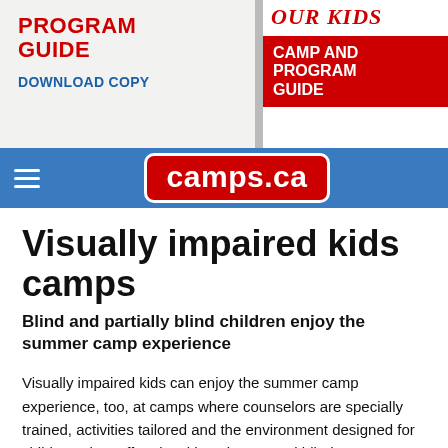[Figure (screenshot): Banner advertisement showing 'PROGRAM GUIDE DOWNLOAD COPY' on the left and 'OUR KIDS' magazine with 'CAMP AND PROGRAM GUIDE' on the right in red.]
camps.ca
Visually impaired kids camps
Blind and partially blind children enjoy the summer camp experience
Visually impaired kids can enjoy the summer camp experience, too, at camps where counselors are specially trained, activities tailored and the environment designed for children who suffer visual impairment and blindness. Learn directly from the camps below how they can help your visually impaired child live the best summer camp experience. Read more →